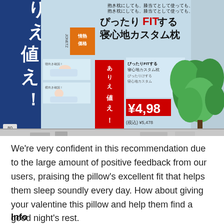[Figure (photo): Photo of a Japanese retail store display showing a custom pillow product with blue and light blue signage featuring Japanese text 'ありえ値え！' (Unbelievable price!) and 'ぴったりFITする 寝心地カスタム枕' (Custom pillow for a perfect sleep fit), an orange price tag, a red promotional banner, price label showing ¥4,980, and green plant on the right side.]
We're very confident in this recommendation due to the large amount of positive feedback from our users, praising the pillow's excellent fit that helps them sleep soundly every day.  How about giving your valentine this pillow and help them find a good night's rest.
Info